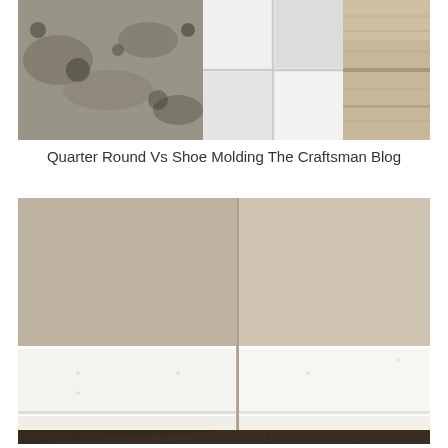[Figure (photo): Collage of stone, tile, and material samples showing various countertop or flooring materials in shades of gray, beige, and brown]
Quarter Round Vs Shoe Molding The Craftsman Blog
[Figure (photo): Interior corner of a room showing white baseboard molding at the junction of wall and dark hardwood floor, with beige/tan walls]